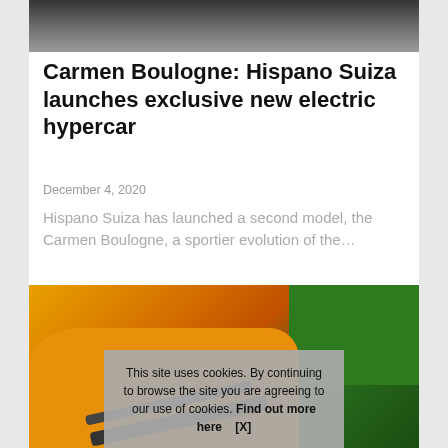[Figure (photo): Top portion of a dark car photo, partially cropped at the top of the page]
Carmen Boulogne: Hispano Suiza launches exclusive new electric hypercar
December 4, 2020
Hispano Suiza has launched a second model, the Carmen Boulogne, a sportier evolution of the…
[Figure (photo): Photo of a yellow/orange vintage-style sports car with dark racing stripes, parked in front of green hedges]
This site uses cookies. By continuing to browse the site you are agreeing to our use of cookies. Find out more here    [X]